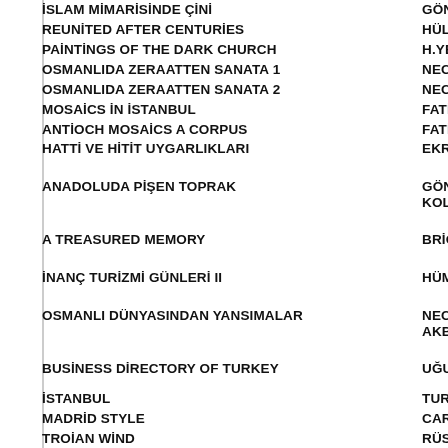İSLAM MİMARİSİNDE ÇİNİ — GÖNÜL ÖNEY
REUNİTED AFTER CENTURİES — HÜLYA BİLGİ
PAİNTİNGS OF THE DARK CHURCH — H.YENİPINAR-S
OSMANLIDA ZERAATTEN SANATA 1 — NECDET SAKA
OSMANLIDA ZERAATTEN SANATA 2 — NECDET SAKA
MOSAİCS İN İSTANBUL — FATİH CİMOK
ANTİOCH MOSAİCS A CORPUS — FATİH CİMOK
HATTİ VE HİTİT UYGARLIKLARI — EKREM AKURG
ANADOLUDA PİŞEN TOPRAK — GÖNÜL PAKSO KOLEKSİYONU
A TREASURED MEMORY — BRİGİTTE PİTA
İNANÇ TURİZMİ GÜNLERİ II — HÜMEYRA ÖZA
OSMANLI DÜNYASINDAN YANSIMALAR — NECDET SAKA AKBAYAR
BUSİNESS DİRECTORY OF TURKEY — UĞUR SERKA
İSTANBUL — TURSAB
MADRİD STYLE — CARMEN CON
TROİAN WİND — RÜSTEM ASI